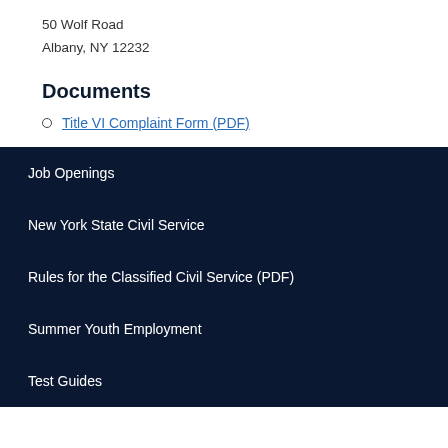50 Wolf Road
Albany, NY 12232
Documents
Title VI Complaint Form (PDF)
Job Openings
New York State Civil Service
Rules for the Classified Civil Service (PDF)
Summer Youth Employment
Test Guides